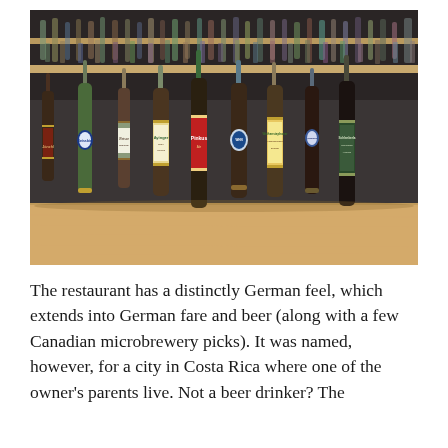[Figure (photo): A row of approximately ten German beer bottles with various labels (including Paulaner, Weissbier, Ayinger, Pinkus, and others) lined up on a wooden bar counter, with blurred shelves of bottles in the background.]
The restaurant has a distinctly German feel, which extends into German fare and beer (along with a few Canadian microbrewery picks). It was named, however, for a city in Costa Rica where one of the owner's parents live. Not a beer drinker? The